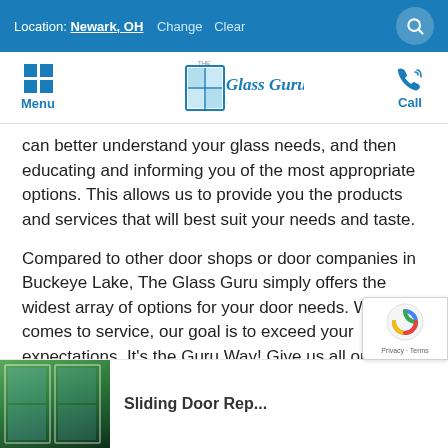Location: Newark, OH  Change  Clear
[Figure (logo): The Glass Guru logo with blue grid window icon and cursive text]
can better understand your glass needs, and then educating and informing you of the most appropriate options. This allows us to provide you the products and services that will best suit your needs and taste.
Compared to other door shops or door companies in Buckeye Lake, The Glass Guru simply offers the widest array of options for your door needs. When it comes to service, our goal is to exceed your expectations. It's the Guru Way! Give us all or come knock on our door for a free estimate.
[Figure (photo): Thumbnail image of sliding glass door with green foliage visible through it]
Sliding Door Rep...